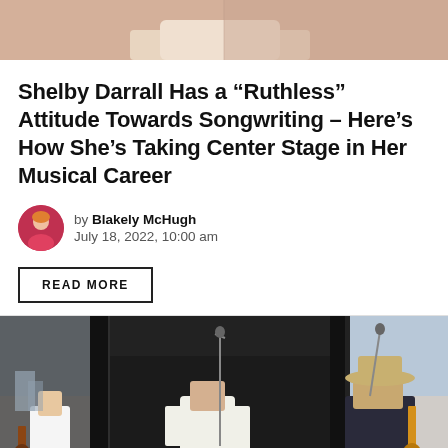[Figure (photo): Top portion of a photo, likely showing Shelby Darrall, cropped at top of page]
Shelby Darrall Has a “Ruthless” Attitude Towards Songwriting – Here’s How She’s Taking Center Stage in Her Musical Career
by Blakely McHugh
July 18, 2022, 10:00 am
READ MORE
[Figure (photo): Concert/outdoor stage photo showing three musicians performing: left figure playing guitar in white shirt, center figure in white suit, right figure in floral shirt and hat playing guitar]